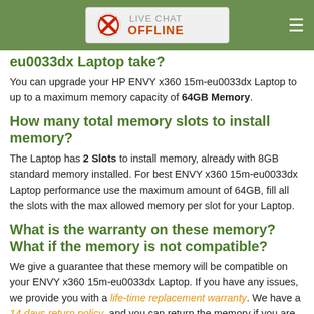[Figure (other): Green navigation bar with Live Chat OFFLINE badge and hamburger menu icon]
eu0033dx Laptop take?
You can upgrade your HP ENVY x360 15m-eu0033dx Laptop to up to a maximum memory capacity of 64GB Memory.
How many total memory slots to install memory?
The Laptop has 2 Slots to install memory, already with 8GB standard memory installed. For best ENVY x360 15m-eu0033dx Laptop performance use the maximum amount of 64GB, fill all the slots with the max allowed memory per slot for your Laptop.
What is the warranty on these memory? What if the memory is not compatible?
We give a guarantee that these memory will be compatible on your ENVY x360 15m-eu0033dx Laptop. If you have any issues, we provide you with a life-time replacement warranty. We have a 14 days return policy, and you can return the memory if you are not satisfied